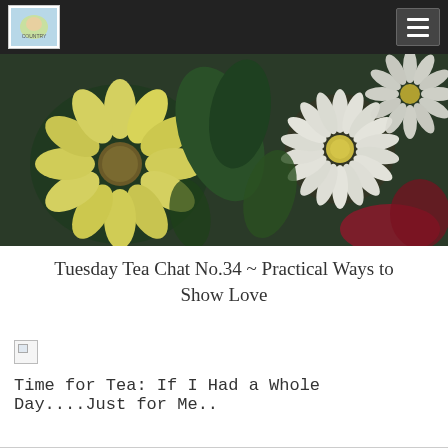Navigation bar with logo and hamburger menu
[Figure (photo): Close-up photo of yellow and white flowers (daisies and chrysanthemums) with green leaves, dark background on left side transitioning to red/pink on right]
Tuesday Tea Chat No.34 ~ Practical Ways to Show Love
[Figure (photo): Broken/missing image placeholder icon]
Time for Tea: If I Had a Whole Day....Just for Me..